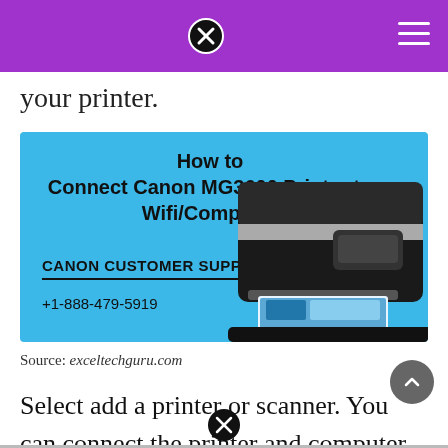your printer.
[Figure (infographic): How to Connect Canon MG3600 Printer to Wifi/Computer. Canon Customer Support +1-888-479-5919. Blue background with image of a Canon inkjet printer on the right.]
Source: exceltechguru.com
Select add a printer or scanner. You can connect the printer and computer using a usb cable (usb connection).